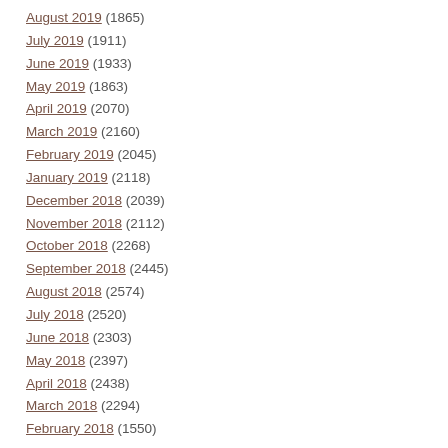August 2019 (1865)
July 2019 (1911)
June 2019 (1933)
May 2019 (1863)
April 2019 (2070)
March 2019 (2160)
February 2019 (2045)
January 2019 (2118)
December 2018 (2039)
November 2018 (2112)
October 2018 (2268)
September 2018 (2445)
August 2018 (2574)
July 2018 (2520)
June 2018 (2303)
May 2018 (2397)
April 2018 (2438)
March 2018 (2294)
February 2018 (1550)